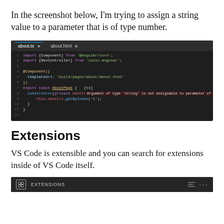In the screenshot below, I'm trying to assign a string value to a parameter that is of type number.
[Figure (screenshot): VS Code editor screenshot showing TypeScript code with an error: 'Argument of type string is not assignable to parameter of type number.' The code imports Component from @angular/core and NavController from ionic-angular, defines an AboutPage class with a constructor calling this.navCtrl.getByIndex('1').]
Extensions
VS Code is extensible and you can search for extensions inside of VS Code itself.
[Figure (screenshot): VS Code Extensions panel title bar showing 'EXTENSIONS' label with icons on the right.]